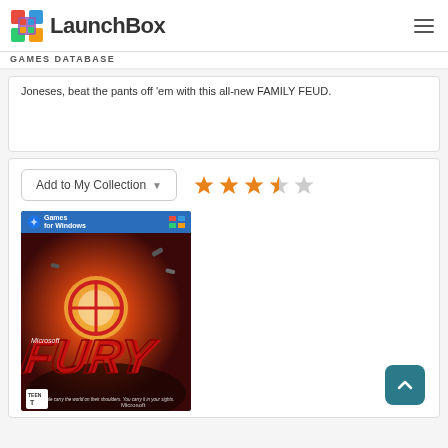LaunchBox GAMES DATABASE
Joneses, beat the pants off 'em with this all-new FAMILY FEUD.
[Figure (screenshot): Add to My Collection button with dropdown arrow, and a 3.5 out of 5 star rating shown with orange filled stars]
[Figure (photo): Game box cover for Microsoft Fury3 for Windows, showing Games for Windows label at top with Microsoft Windows logo, and stylized red/orange action game artwork with Microsoft Studios branding at bottom]